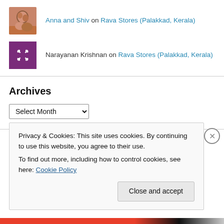Anna and Shiv on Rava Stores (Palakkad, Kerala)
Narayanan Krishnan on Rava Stores (Palakkad, Kerala)
Archives
Categories
Privacy & Cookies: This site uses cookies. By continuing to use this website, you agree to their use.
To find out more, including how to control cookies, see here: Cookie Policy
Close and accept